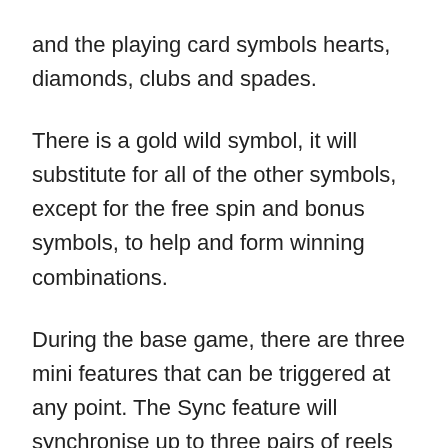and the playing card symbols hearts, diamonds, clubs and spades.
There is a gold wild symbol, it will substitute for all of the other symbols, except for the free spin and bonus symbols, to help and form winning combinations.
During the base game, there are three mini features that can be triggered at any point. The Sync feature will synchronise up to three pairs of reels of the same height so that they display the same symbols, thereby making it easier to land a win. The Wilds feature will add between four and eight wilds to the reels. The Nudge feature will